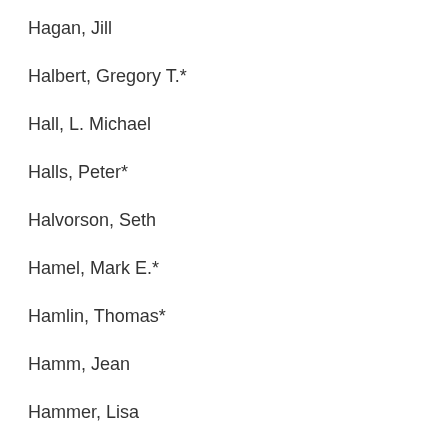Hagan, Jill
Halbert, Gregory T.*
Hall, L. Michael
Halls, Peter*
Halvorson, Seth
Hamel, Mark E.*
Hamlin, Thomas*
Hamm, Jean
Hammer, Lisa